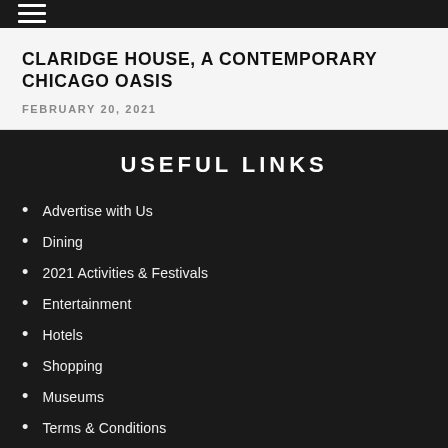☰
CLARIDGE HOUSE, A CONTEMPORARY CHICAGO OASIS
FEBRUARY 20, 2021
USEFUL LINKS
Advertise with Us
Dining
2021 Activities & Festivals
Entertainment
Hotels
Shopping
Museums
Terms & Conditions